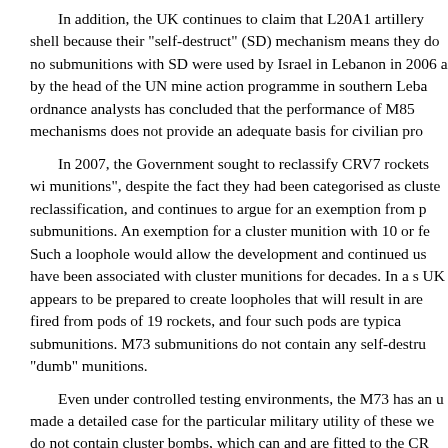In addition, the UK continues to claim that L20A1 artillery shell because their "self-destruct" (SD) mechanism means they do no submunitions with SD were used by Israel in Lebanon in 2006 a by the head of the UN mine action programme in southern Leba ordnance analysts has concluded that the performance of M85 mechanisms does not provide an adequate basis for civilian pro
In 2007, the Government sought to reclassify CRV7 rockets wi munitions", despite the fact they had been categorised as cluste reclassification, and continues to argue for an exemption from p submunitions. An exemption for a cluster munition with 10 or fe Such a loophole would allow the development and continued us have been associated with cluster munitions for decades. In a s UK appears to be prepared to create loopholes that will result in are fired from pods of 19 rockets, and four such pods are typica submunitions. M73 submunitions do not contain any self-destru "dumb" munitions.
Even under controlled testing environments, the M73 has an u made a detailed case for the particular military utility of these we do not contain cluster bombs, which can and are fitted to the CR
Export Licensing
The Government has made a commitment not to grant arms ex equipment to facilitate human rights abuses. However, export lic used to commit abuses to countries about which the Governme Afghanistan, China, Colombia, Israel, Iraq, Russia, Pakistan and